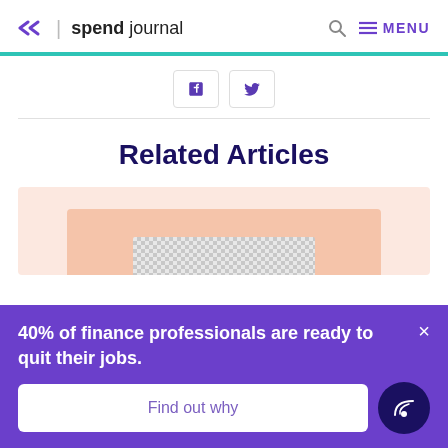spend journal | MENU
[Figure (screenshot): LinkedIn and Twitter/X social share buttons]
Related Articles
[Figure (photo): Article thumbnail image with pink/peach background and checkered fabric/notebook]
40% of finance professionals are ready to quit their jobs.
Find out why